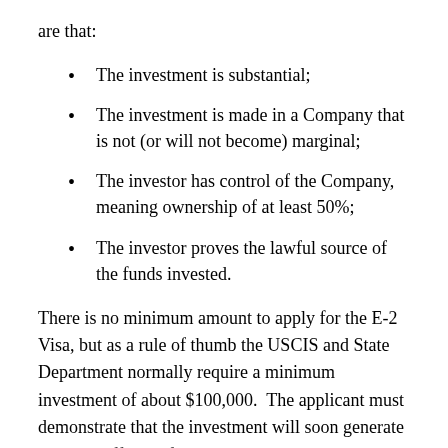are that:
The investment is substantial;
The investment is made in a Company that is not (or will not become) marginal;
The investor has control of the Company, meaning ownership of at least 50%;
The investor proves the lawful source of the funds invested.
There is no minimum amount to apply for the E-2 Visa, but as a rule of thumb the USCIS and State Department normally require a minimum investment of about $100,000.  The applicant must demonstrate that the investment will soon generate income sufficient for the investor to